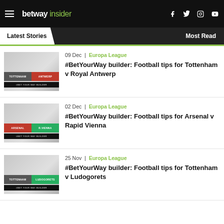betway insider
Latest Stories | Most Read
[Figure (screenshot): Thumbnail for Tottenham v Royal Antwerp article showing matchup banner]
09 Dec | Europa League
#BetYourWay builder: Football tips for Tottenham v Royal Antwerp
[Figure (screenshot): Thumbnail for Arsenal v Rapid Vienna article showing matchup banner]
02 Dec | Europa League
#BetYourWay builder: Football tips for Arsenal v Rapid Vienna
[Figure (screenshot): Thumbnail for Tottenham v Ludogorets article showing matchup banner]
25 Nov | Europa League
#BetYourWay builder: Football tips for Tottenham v Ludogorets